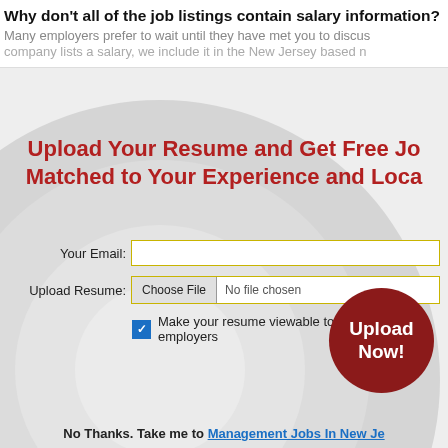Why don't all of the job listings contain salary information?
Many employers prefer to wait until they have met you to discus... company lists a salary, we include it in the New Jersey based...
Upload Your Resume and Get Free Jo... Matched to Your Experience and Loca...
Your Email: [input field]
Upload Resume: Choose File  No file chosen
Make your resume viewable to thousands of employers
[Figure (infographic): Red circular Upload Now! button]
No Thanks. Take me to Management Jobs In New Je...